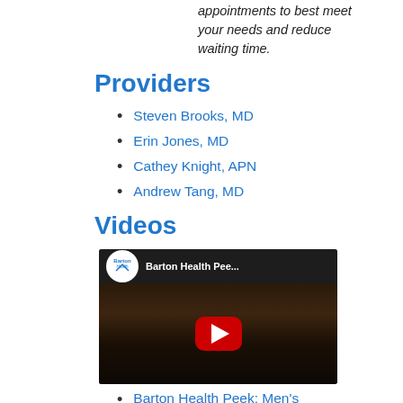appointments to best meet your needs and reduce waiting time.
Providers
Steven Brooks, MD
Erin Jones, MD
Cathey Knight, APN
Andrew Tang, MD
Videos
[Figure (screenshot): YouTube video thumbnail for 'Barton Health Pee...' showing a person with a Barton Health logo circle and red play button]
Barton Health Peek: Men's Health S...